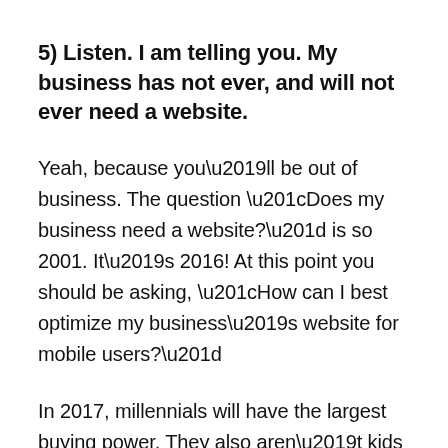5) Listen. I am telling you. My business has not ever, and will not ever need a website.
Yeah, because you’ll be out of business. The question “Does my business need a website?” is so 2001. It’s 2016! At this point you should be asking, “How can I best optimize my business’s website for mobile users?”
In 2017, millennials will have the largest buying power. They also aren’t kids anymore (They’re 18-35 year olds!). They’re also